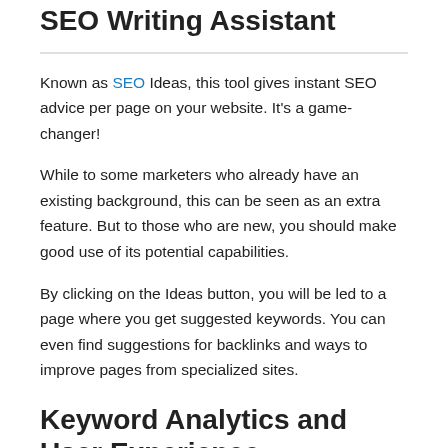SEO Writing Assistant
Known as SEO Ideas, this tool gives instant SEO advice per page on your website. It's a game-changer!
While to some marketers who already have an existing background, this can be seen as an extra feature. But to those who are new, you should make good use of its potential capabilities.
By clicking on the Ideas button, you will be led to a page where you get suggested keywords. You can even find suggestions for backlinks and ways to improve pages from specialized sites.
Keyword Analytics and User Experience
Keywords are the backbone of any website. SEMrush's keyword research tool brings related keywords with phrases and terms to get higher search rankings.